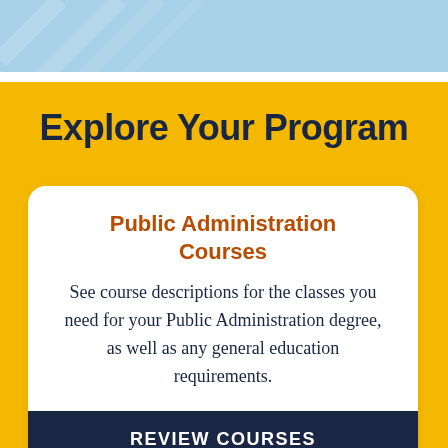[Figure (illustration): Light blue decorative header band with diagonal stripe lines]
Explore Your Program
Public Administration Courses
See course descriptions for the classes you need for your Public Administration degree, as well as any general education requirements.
REVIEW COURSES